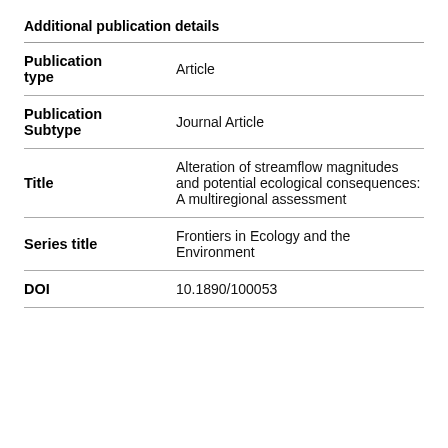Additional publication details
| Field | Value |
| --- | --- |
| Publication type | Article |
| Publication Subtype | Journal Article |
| Title | Alteration of streamflow magnitudes and potential ecological consequences: A multiregional assessment |
| Series title | Frontiers in Ecology and the Environment |
| DOI | 10.1890/100053 |